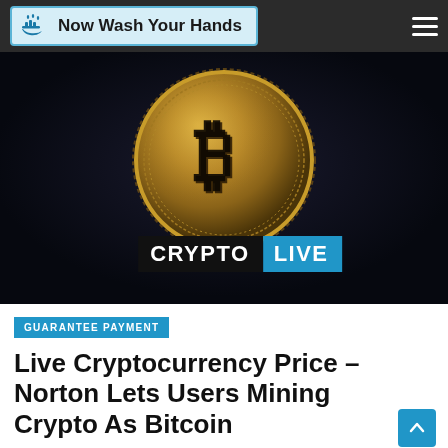Now Wash Your Hands
[Figure (photo): A gold Bitcoin coin photographed against a dark background, with a 'CRYPTO LIVE' overlay label at the bottom center of the image.]
GUARANTEE PAYMENT
Live Cryptocurrency Price – Norton Lets Users Mining Crypto As Bitcoin